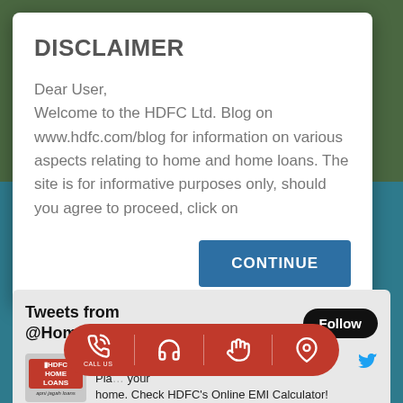DISCLAIMER
Dear User,
Welcome to the HDFC Ltd. Blog on www.hdfc.com/blog for information on various aspects relating to home and home loans. The site is for informative purposes only, should you agree to proceed, click on
CONTINUE
Tweets from @HomeLoansByHDFC
[Figure (screenshot): HDFC Home Loans Twitter widget showing tweets from @HomeLoansByHDFC with Follow button, HDFC logo, tweet text about home, and Twitter bird icon]
[Figure (infographic): Floating red pill-shaped action bar with four icons: phone (CALL US), headset, hand/touch, and location pin]